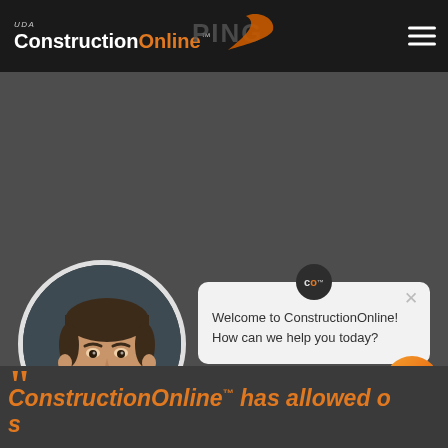[Figure (logo): UDA ConstructionOnline logo in white and orange on dark header bar]
[Figure (logo): Nike swoosh logo in orange on dark background]
[Figure (photo): Circular portrait photo of a young man with short dark hair, smiling, dark background]
Welcome to ConstructionOnline! How can we help you today?
[Figure (infographic): Orange circular chat button with speech bubble icon]
ConstructionOnline™ has allowed o... s...